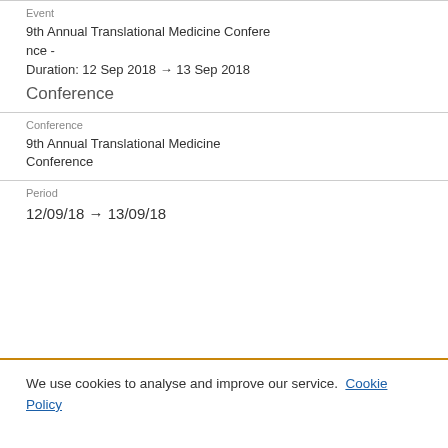Event
9th Annual Translational Medicine Conference -
Duration: 12 Sep 2018 → 13 Sep 2018
Conference
Conference
9th Annual Translational Medicine Conference
Period
12/09/18 → 13/09/18
We use cookies to analyse and improve our service. Cookie Policy